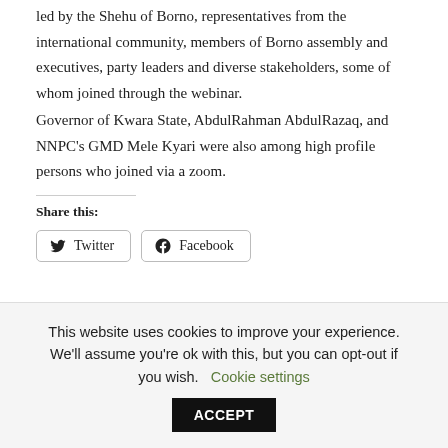led by the Shehu of Borno, representatives from the international community, members of Borno assembly and executives, party leaders and diverse stakeholders, some of whom joined through the webinar.
Governor of Kwara State, AbdulRahman AbdulRazaq, and NNPC's GMD Mele Kyari were also among high profile persons who joined via a zoom.
Share this:
[Figure (other): Social share buttons: Twitter and Facebook]
This website uses cookies to improve your experience. We'll assume you're ok with this, but you can opt-out if you wish. Cookie settings ACCEPT